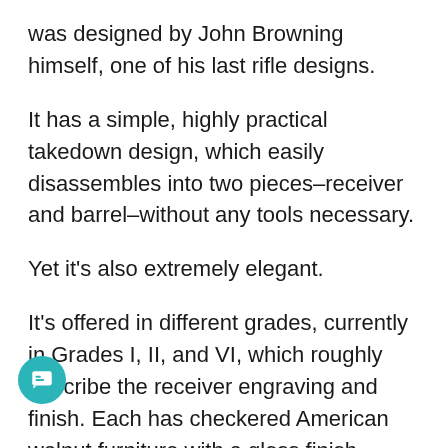was designed by John Browning himself, one of his last rifle designs.
It has a simple, highly practical takedown design, which easily disassembles into two pieces–receiver and barrel–without any tools necessary.
Yet it's also extremely elegant.
It's offered in different grades, currently in Grades I, II, and VI, which roughly describe the receiver engraving and finish. Each has checkered American walnut furniture with a gloss finish.